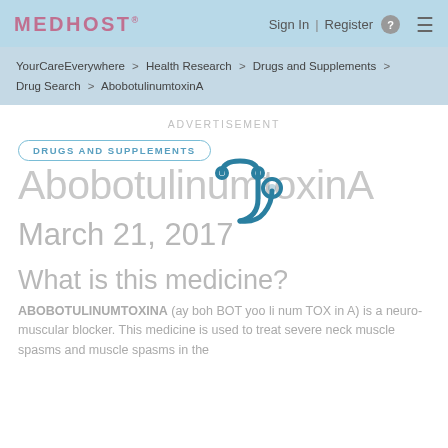MEDHOST | Sign In | Register | ☰
YourCareEverywhere > Health Research > Drugs and Supplements > Drug Search > AbobotulinumtoxinA
ADVERTISEMENT
DRUGS AND SUPPLEMENTS
AbobotulinumtoxinA
March 21, 2017
What is this medicine?
ABOBOTULINUMTOXINA (ay boh BOT yoo li num TOX in A) is a neuro-muscular blocker. This medicine is used to treat severe neck muscle spasms and muscle spasms in the